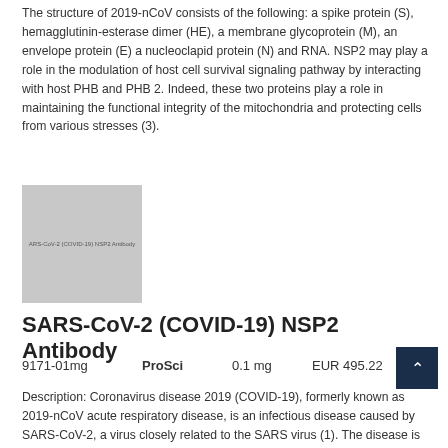The structure of 2019-nCoV consists of the following: a spike protein (S), hemagglutinin-esterase dimer (HE), a membrane glycoprotein (M), an envelope protein (E) a nucleoclapid protein (N) and RNA. NSP2 may play a role in the modulation of host cell survival signaling pathway by interacting with host PHB and PHB 2. Indeed, these two proteins play a role in maintaining the functional integrity of the mitochondria and protecting cells from various stresses (3).
[Figure (photo): Gray placeholder image with text 'ARS-CoV-2 (COVID-19) NSP2 Antibody']
SARS-CoV-2 (COVID-19) NSP2 Antibody
9171-01mg	ProSci	0.1 mg	EUR 495.22
Description: Coronavirus disease 2019 (COVID-19), formerly known as 2019-nCoV acute respiratory disease, is an infectious disease caused by SARS-CoV-2, a virus closely related to the SARS virus (1). The disease is the cause of the 2019–20 coronavirus outbreak (2).